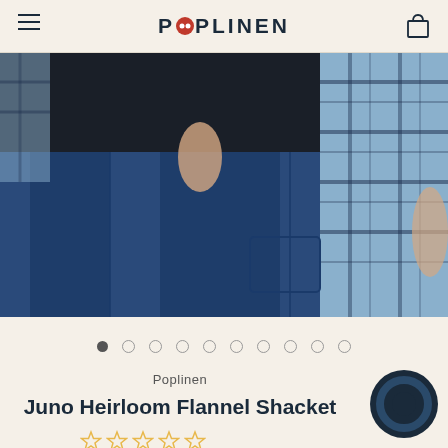POPLINEN
[Figure (photo): Close-up photo of a person wearing blue jeans and a blue/white plaid flannel shacket, hands in pockets, cropped at waist level]
Poplinen
Juno Heirloom Flannel Shacket
[Figure (other): Star rating display showing empty/outline stars]